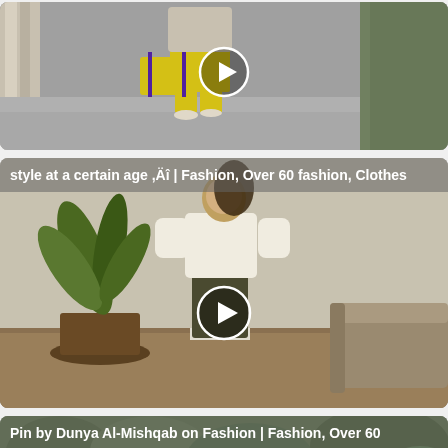[Figure (photo): Video thumbnail showing a person wearing yellow pants and carrying a yellow bag with purple straps, outdoors on a city sidewalk. White play button circle overlay centered on image.]
[Figure (photo): Video thumbnail of a woman in a white blouse and dark leather pants standing in a room with a potted plant and a sofa. Play button circle overlay centered on image. Caption text overlay: 'style at a certain age ,Äî | Fashion, Over 60 fashion, Clothes']
style at a certain age ,Äî | Fashion, Over 60 fashion, Clothes
[Figure (photo): Partial thumbnail showing green foliage background with text overlay: 'Pin by Dunya Al-Mishqab on Fashion | Fashion, Over 60']
Pin by Dunya Al-Mishqab on Fashion | Fashion, Over 60